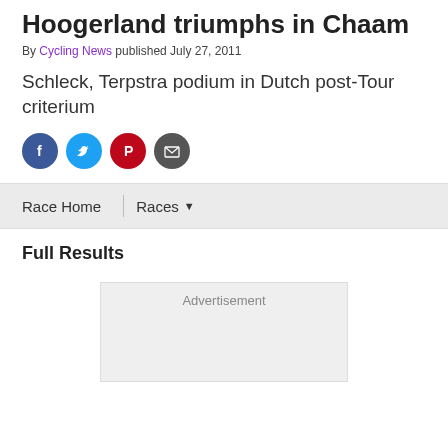Hoogerland triumphs in Chaam
By Cycling News published July 27, 2011
Schleck, Terpstra podium in Dutch post-Tour criterium
[Figure (other): Social sharing icons: Facebook, Twitter, Pinterest, Email]
Race Home | Races
Full Results
Advertisement